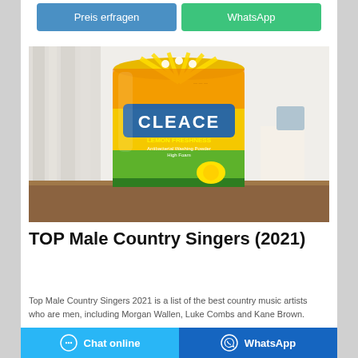Preis erfragen
WhatsApp
[Figure (photo): A yellow bag of Cleace Lemon Freshness washing powder on a wooden shelf]
TOP Male Country Singers (2021)
Top Male Country Singers 2021 is a list of the best country music artists who are men, including Morgan Wallen, Luke Combs and Kane Brown.
Chat online
WhatsApp